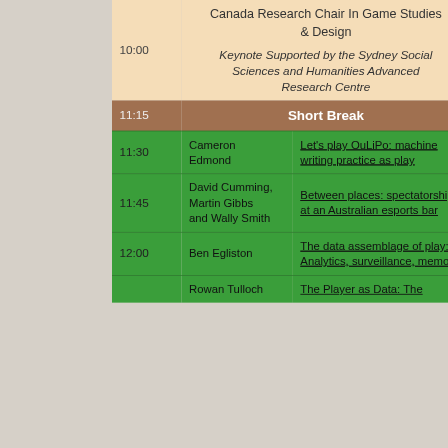| Time | Presenter | Talk |
| --- | --- | --- |
| 10:00 | Canada Research Chair In Game Studies & Design
Keynote Supported by the Sydney Social Sciences and Humanities Advanced Research Centre |  |
| 11:15 | Short Break |  |
| 11:30 | Cameron Edmond | Let's play OuLiPo: machine writing practice as play |
| 11:45 | David Cumming, Martin Gibbs and Wally Smith | Between places: spectatorship at an Australian esports bar |
| 12:00 | Ben Egliston | The data assemblage of play: Analytics, surveillance, memory |
|  | Rowan Tulloch | The Player as Data: The ... |